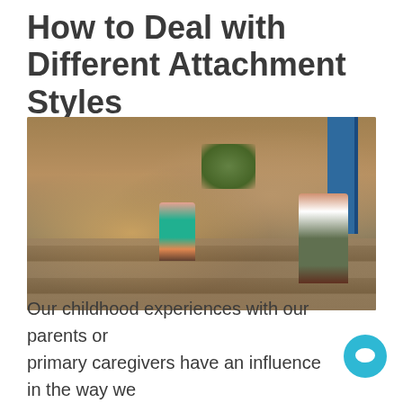How to Deal with Different Attachment Styles
[Figure (photo): Two people sitting on stone steps in a rustic alley with stone walls, graffiti, and a blue shutter door. A woman in a teal top sits cross-legged on the left, a bearded man in olive pants sits on the right holding something.]
Our childhood experiences with our parents or primary caregivers have an influence in the way we